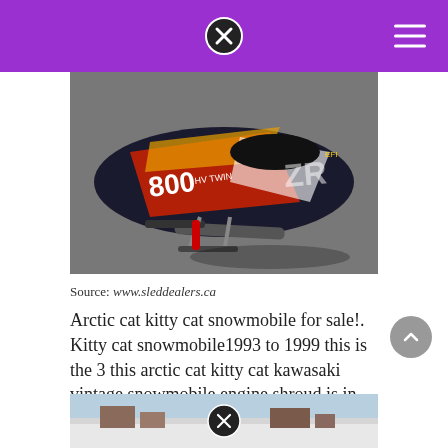[Figure (photo): A black, red and yellow Arctic Cat 800 HV Twin snowmobile photographed from above-front on a gravel surface.]
Source: www.sleddealers.ca
Arctic cat kitty cat snowmobile for sale!. Kitty cat snowmobile1993 to 1999 this is the 3 this arctic cat kitty cat kawasaki vintage snowmobile engine shroud is in good shape.
[Figure (photo): Partial view of another snowmobile or vehicle in a snowy/wintry outdoor setting.]